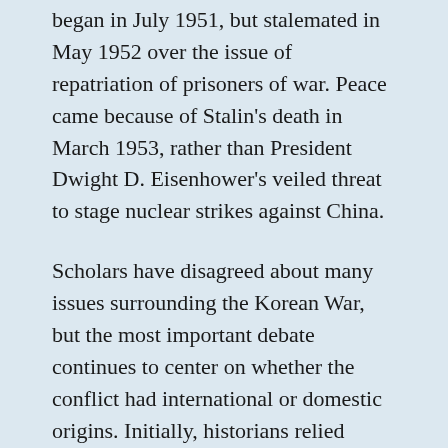began in July 1951, but stalemated in May 1952 over the issue of repatriation of prisoners of war. Peace came because of Stalin's death in March 1953, rather than President Dwight D. Eisenhower's veiled threat to stage nuclear strikes against China.
Scholars have disagreed about many issues surrounding the Korean War, but the most important debate continues to center on whether the conflict had international or domestic origins. Initially, historians relied mainly on U.S. government publications to write accounts that ignored events prior to North Korea's attack, endorsing an orthodox interpretation assigning blame to the Soviet Union and applauding the U.S. response.